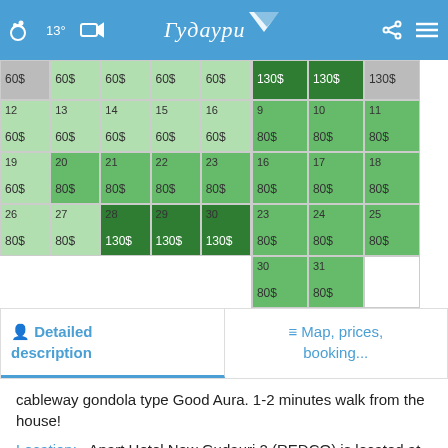[Figure (screenshot): Mobile app header bar with weather icon (13°C), video camera icon, Gudauri logo in Russian (Гудаури), share icon, and menu icon]
| 60$ | 60$ | 60$ | 60$ | 60$ | 60$ | 60$ |
| 12 60$ | 13 60$ | 14 60$ | 15 60$ | 16 60$ | 17 60$ | 18 60$ |
| 19 60$ | 20 80$ | 21 80$ | 22 80$ | 23 80$ | 24 80$ | 25 80$ |
| 26 80$ | 27 80$ | 28 130$ | 29 130$ | 30 130$ | 31 130$ |  |
| 130$ | 130$ | 130$ |
| 9 80$ | 10 80$ | 11 80$ |
| 16 80$ | 17 80$ | 18 80$ |
| 23 80$ | 24 80$ | 25 80$ |
| 30 80$ | 31 80$ |  |
Detailed description
Map, prices, booking...
cableway gondola type Good Aura. 1-2 minutes walk from the house!
Location:   Apart Hotel New Gudauri 2 (REDCO) is located at an altitude of over 2,200 meters above sea level in the